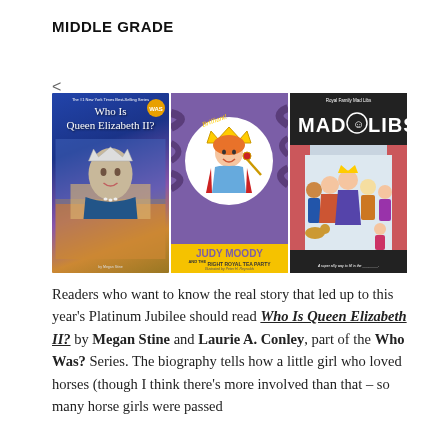MIDDLE GRADE
[Figure (illustration): Three book covers side by side: 'Who Is Queen Elizabeth II?' from the Who Was? series showing an illustration of Queen Elizabeth II with a crown; 'Judy Moody and the Right Royal Tea Party' by Megan McDonald illustrated by Peter H. Reynolds showing a cartoon girl dressed as royalty; and 'Royal Family Mad Libs' Mad Libs book showing cartoon royal family figures.]
Readers who want to know the real story that led up to this year's Platinum Jubilee should read Who Is Queen Elizabeth II? by Megan Stine and Laurie A. Conley, part of the Who Was? Series. The biography tells how a little girl who loved horses (though I think there's more involved than that – so many horse girls were passed